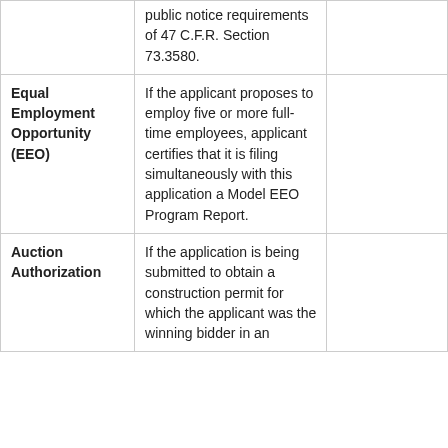|  | public notice requirements of 47 C.F.R. Section 73.3580. |  |
| Equal Employment Opportunity (EEO) | If the applicant proposes to employ five or more full-time employees, applicant certifies that it is filing simultaneously with this application a Model EEO Program Report. |  |
| Auction Authorization | If the application is being submitted to obtain a construction permit for which the applicant was the winning bidder in an |  |